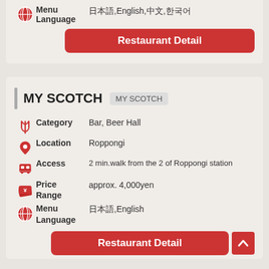Menu Language: 日本語,English,中文,한국어
Restaurant Detail
MY SCOTCH  MY SCOTCH
Category: Bar, Beer Hall
Location: Roppongi
Access: 2 min.walk from the 2 of Roppongi station
Price Range: approx. 4,000yen
Menu Language: 日本語,English
Restaurant Detail